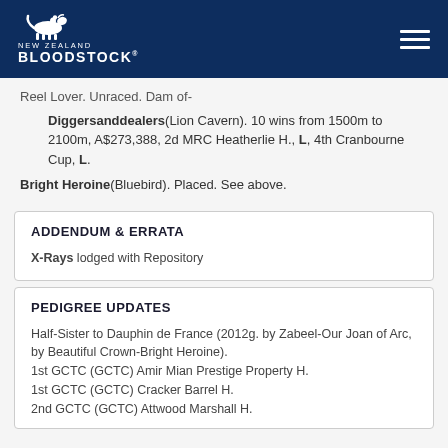NEW ZEALAND BLOODSTOCK
Reel Lover. Unraced. Dam of-
Diggersanddealers(Lion Cavern). 10 wins from 1500m to 2100m, A$273,388, 2d MRC Heatherlie H., L, 4th Cranbourne Cup, L.
Bright Heroine(Bluebird). Placed. See above.
ADDENDUM & ERRATA
X-Rays lodged with Repository
PEDIGREE UPDATES
Half-Sister to Dauphin de France (2012g. by Zabeel-Our Joan of Arc, by Beautiful Crown-Bright Heroine).
1st GCTC (GCTC) Amir Mian Prestige Property H.
1st GCTC (GCTC) Cracker Barrel H.
2nd GCTC (GCTC) Attwood Marshall H.